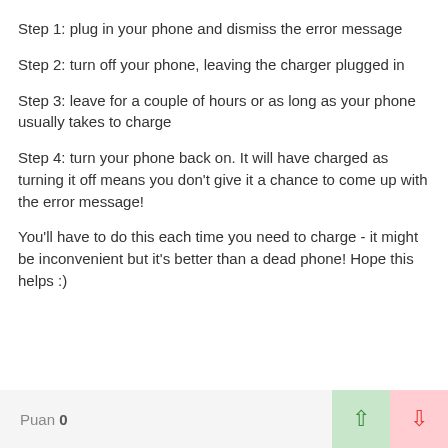Step 1: plug in your phone and dismiss the error message
Step 2: turn off your phone, leaving the charger plugged in
Step 3: leave for a couple of hours or as long as your phone usually takes to charge
Step 4: turn your phone back on. It will have charged as turning it off means you don't give it a chance to come up with the error message!
You'll have to do this each time you need to charge - it might be inconvenient but it's better than a dead phone! Hope this helps :)
Puan 0